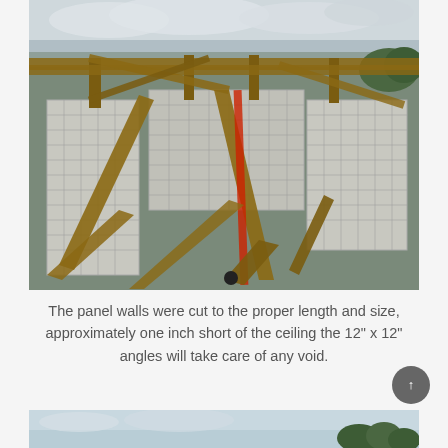[Figure (photo): Construction site photograph showing panel walls arranged in a multi-sided structure with wooden bracing/scaffolding above. Mesh-reinforced concrete panels form the walls, viewed from above. Wooden diagonal braces and horizontal beams are visible overhead.]
The panel walls were cut to the proper length and size, approximately one inch short of the ceiling the 12" x 12" angles will take care of any void.
[Figure (photo): Partial view of another construction site photo at the bottom of the page, showing a pale sky and distant treeline.]